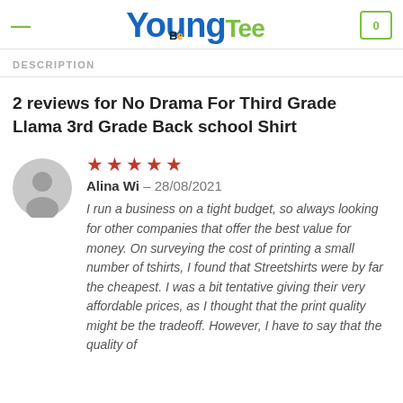YoungBeTee - logo and navigation header
DESCRIPTION
2 reviews for No Drama For Third Grade Llama 3rd Grade Back school Shirt
[Figure (illustration): Gray avatar silhouette placeholder icon]
Rated 5 out of 5. Alina Wi – 28/08/2021. I run a business on a tight budget, so always looking for other companies that offer the best value for money. On surveying the cost of printing a small number of tshirts, I found that Streetshirts were by far the cheapest. I was a bit tentative giving their very affordable prices, as I thought that the print quality might be the tradeoff. However, I have to say that the quality of